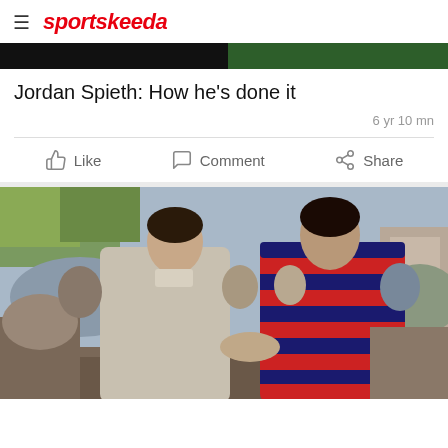sportskeeda
[Figure (photo): Dark banner strip — partial view of a photo with black left half and green right half]
Jordan Spieth: How he's done it
6 yr 10 mn
[Figure (photo): Two golfers shaking hands on a golf course — one in grey polo shirt on the left, one in red and navy striped shirt on the right, crowd in background]